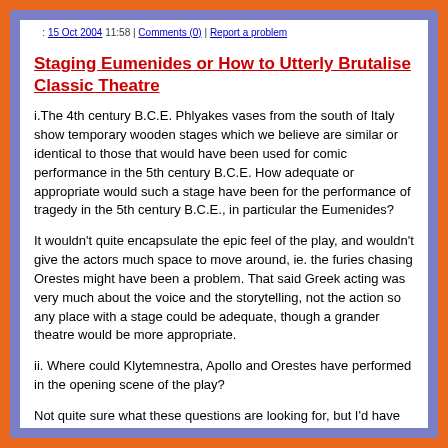15 Oct 2004 11:58 | Comments (0) | Report a problem
Staging Eumenides or How to Utterly Brutalise Classic Theatre
i.The 4th century B.C.E. Phlyakes vases from the south of Italy show temporary wooden stages which we believe are similar or identical to those that would have been used for comic performance in the 5th century B.C.E. How adequate or appropriate would such a stage have been for the performance of tragedy in the 5th century B.C.E., in particular the Eumenides?
It wouldn't quite encapsulate the epic feel of the play, and wouldn't give the actors much space to move around, ie. the furies chasing Orestes might have been a problem. That said Greek acting was very much about the voice and the storytelling, not the action so any place with a stage could be adequate, though a grander theatre would be more appropriate.
ii. Where could Klytemnestra, Apollo and Orestes have performed in the opening scene of the play?
Not quite sure what these questions are looking for, but I'd have had the first scene performed with Klytemnestra and Apollo at the front of the stage, then have Orestes enter from behind the audience, through the aisle, as if pursued by the